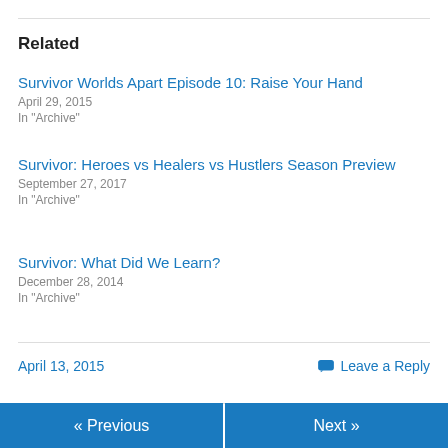Related
Survivor Worlds Apart Episode 10: Raise Your Hand
April 29, 2015
In "Archive"
Survivor: Heroes vs Healers vs Hustlers Season Preview
September 27, 2017
In "Archive"
Survivor: What Did We Learn?
December 28, 2014
In "Archive"
April 13, 2015
Leave a Reply
« Previous  |  Next »